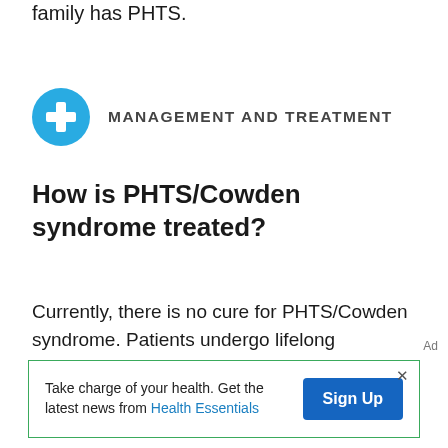family has PHTS.
MANAGEMENT AND TREATMENT
How is PHTS/Cowden syndrome treated?
Currently, there is no cure for PHTS/Cowden syndrome. Patients undergo lifelong surveillance to monitor for benign and cancerous growths to help detect any problems
Ad
Take charge of your health. Get the latest news from Health Essentials Sign Up